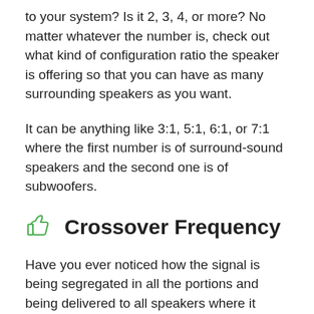to your system? Is it 2, 3, 4, or more? No matter whatever the number is, check out what kind of configuration ratio the speaker is offering so that you can have as many surrounding speakers as you want.
It can be anything like 3:1, 5:1, 6:1, or 7:1 where the first number is of surround-sound speakers and the second one is of subwoofers.
Crossover Frequency
Have you ever noticed how the signal is being segregated in all the portions and being delivered to all speakers where it interprets as sound? Well, this is the process that we call the Crossover frequency.